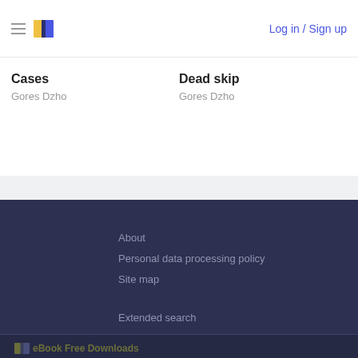Log in / Sign up
Cases
Gores Dzho
Dead skip
Gores Dzho
About
Personal data processing policy
Site map
Extended search
eBook Free Downloads
© 2022 All rights reserved